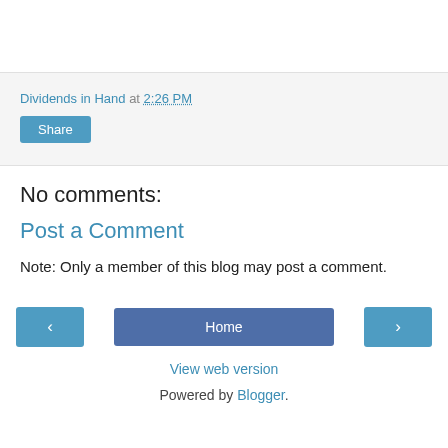Dividends in Hand at 2:26 PM
Share
No comments:
Post a Comment
Note: Only a member of this blog may post a comment.
‹
Home
›
View web version
Powered by Blogger.